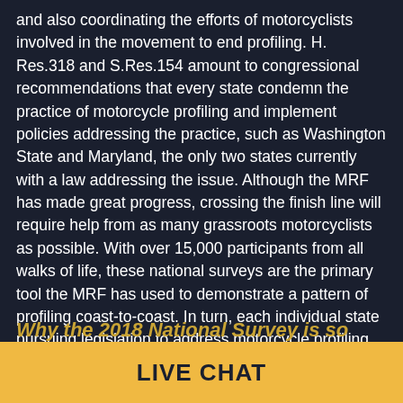and also coordinating the efforts of motorcyclists involved in the movement to end profiling. H. Res.318 and S.Res.154 amount to congressional recommendations that every state condemn the practice of motorcycle profiling and implement policies addressing the practice, such as Washington State and Maryland, the only two states currently with a law addressing the issue. Although the MRF has made great progress, crossing the finish line will require help from as many grassroots motorcyclists as possible. With over 15,000 participants from all walks of life, these national surveys are the primary tool the MRF has used to demonstrate a pattern of profiling coast-to-coast. In turn, each individual state pursuing legislation to address motorcycle profiling will now have statistical data to validate the epidemic at the local level as well.
Why the 2018 National Survey is so
LIVE CHAT